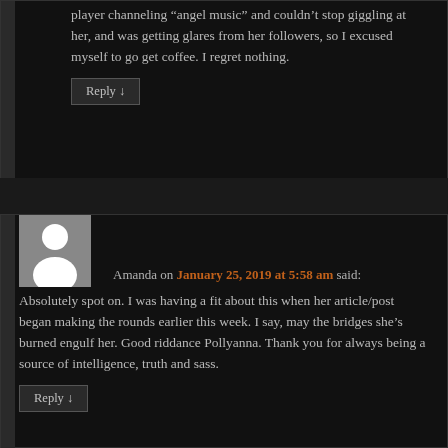player channeling "angel music" and couldn't stop giggling at her, and was getting glares from her followers, so I excused myself to go get coffee. I regret nothing.
Reply ↓
[Figure (illustration): Generic user avatar placeholder image — grey background with white silhouette of a person]
Amanda on January 25, 2019 at 5:58 am said:
Absolutely spot on. I was having a fit about this when her article/post began making the rounds earlier this week. I say, may the bridges she's burned engulf her. Good riddance Pollyanna. Thank you for always being a source of intelligence, truth and sass.
Reply ↓